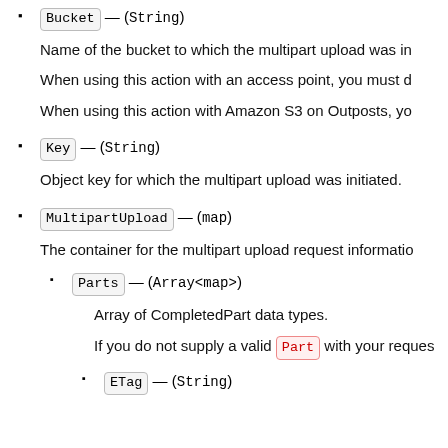Bucket — (String)
Name of the bucket to which the multipart upload was in
When using this action with an access point, you must d
When using this action with Amazon S3 on Outposts, yo
Key — (String)
Object key for which the multipart upload was initiated.
MultipartUpload — (map)
The container for the multipart upload request informatio
Parts — (Array<map>)
Array of CompletedPart data types.
If you do not supply a valid Part with your reques
ETag — (String)